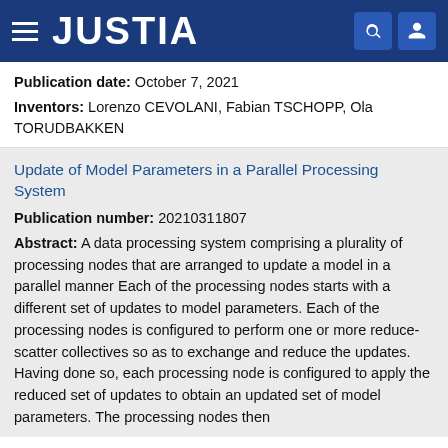JUSTIA
Publication date: October 7, 2021
Inventors: Lorenzo CEVOLANI, Fabian TSCHOPP, Ola TORUDBAKKEN
Update of Model Parameters in a Parallel Processing System
Publication number: 20210311807
Abstract: A data processing system comprising a plurality of processing nodes that are arranged to update a model in a parallel manner Each of the processing nodes starts with a different set of updates to model parameters. Each of the processing nodes is configured to perform one or more reduce-scatter collectives so as to exchange and reduce the updates. Having done so, each processing node is configured to apply the reduced set of updates to obtain an updated set of model parameters. The processing nodes then